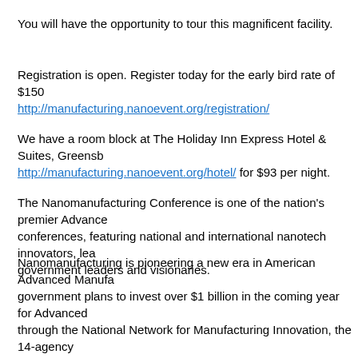You will have the opportunity to tour this magnificent facility.
Registration is open. Register today for the early bird rate of $150
http://manufacturing.nanoevent.org/registration/
We have a room block at The Holiday Inn Express Hotel & Suites, Greensboro http://manufacturing.nanoevent.org/hotel/ for $93 per night.
The Nanomanufacturing Conference is one of the nation's premier Advanced conferences, featuring national and international nanotech innovators, leading government leaders and visionaries.
Nanomanufacturing is pioneering a new era in American Advanced Manufacturing. government plans to invest over $1 billion in the coming year for Advanced through the National Network for Manufacturing Innovation, the 14-agency Manufacturing Jobs and Innovation Accelerator, and other initiatives to foster job creation through public-private partnerships. These coordinated investments leverage private capital, build an entrepreneurial ecosystem, and promote development in regions across the United States.
These initiatives reflect a ". . . commitment to supporting American manufacturing, making things here and selling them everywhere," said U.S. Commerce Secretary